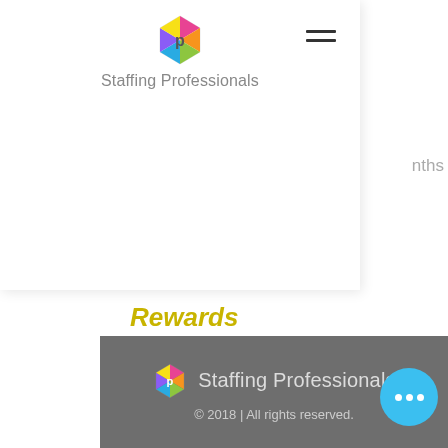Staffing Professionals
Rewards
Competitive pay rates and bonuses of up to £250 for recommending your friends
Dedicated and supportive recruitment consultants and compliance officers
Reliable and fast weekly pay, with the options of Umbrella, PAYE, and LTD.
Staffing Professionals © 2018 | All rights reserved.